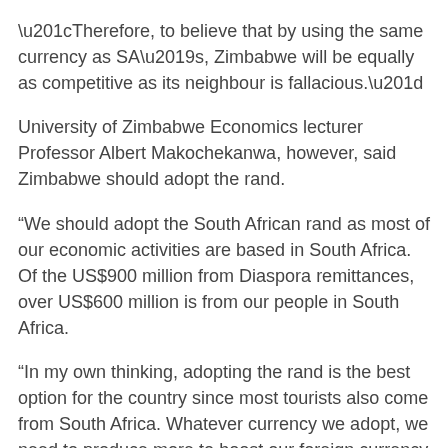“Therefore, to believe that by using the same currency as SA’s, Zimbabwe will be equally as competitive as its neighbour is fallacious.”
University of Zimbabwe Economics lecturer Professor Albert Makochekanwa, however, said Zimbabwe should adopt the rand.
“We should adopt the South African rand as most of our economic activities are based in South Africa. Of the US$900 million from Diaspora remittances, over US$600 million is from our people in South Africa.
“In my own thinking, adopting the rand is the best option for the country since most tourists also come from South Africa. Whatever currency we adopt, we need to produce more to boost our foreign currency reserves.”
But economist Dr Gift Mugano described rand adoption as “senseless”.